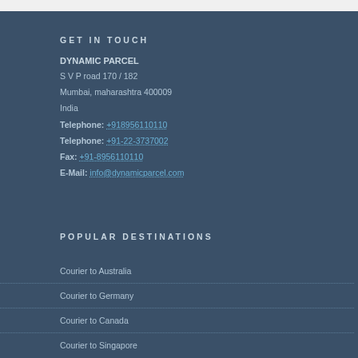GET IN TOUCH
DYNAMIC PARCEL
S V P road 170 / 182
Mumbai, maharashtra 400009
India
Telephone: +918956110110
Telephone: +91-22-3737002
Fax: +91-8956110110
E-Mail: info@dynamicparcel.com
POPULAR DESTINATIONS
Courier to Australia
Courier to Germany
Courier to Canada
Courier to Singapore